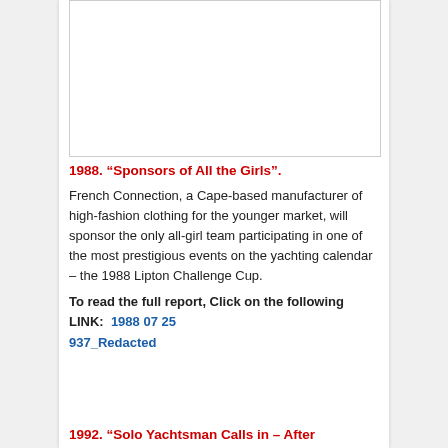[Figure (photo): White/blank rectangular image placeholder at top of content column]
1988. “Sponsors of All the Girls”.
French Connection, a Cape-based manufacturer of high-fashion clothing for the younger market, will sponsor the only all-girl team participating in one of the most prestigious events on the yachting calendar – the 1988 Lipton Challenge Cup.
To read the full report, Click on the following LINK:  1988 07 25 937_Redacted
1992. “Solo Yachtsman Calls in – After